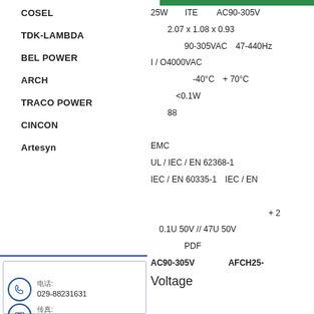COSEL株式会社
TDK-LAMBDA株
BEL POWER株式会社
ARCH株式会社
TRACO POWER株
CINCON株式会社株
Artesyn株式会社
其他
联系我们
电话: 029-88231631
传真: 029-88231651
25W　ITE　　 AC90-305V
2.07 x 1.08 x 0.93
90-305VAC　47-440Hz
I / O4000VAC
-40°C　+ 70°C
<0.1W
88
EMC
UL / IEC / EN 62368-1
IEC / EN 60335-1　IEC / EN
+ 2
0.1U 50V // 47U 50V
PDF
AC90-305V　　　　AFCH25-
Voltage